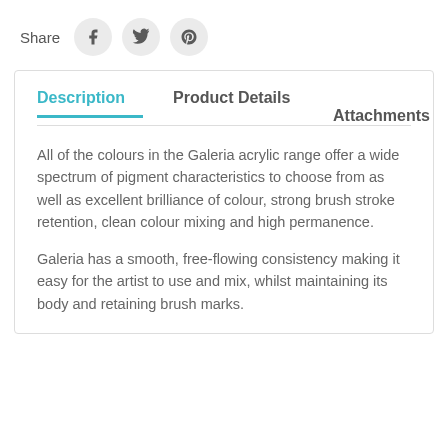Share
[Figure (screenshot): Share bar with Facebook, Twitter, and Pinterest icons]
Description
Product Details
Attachments
All of the colours in the Galeria acrylic range offer a wide spectrum of pigment characteristics to choose from as well as excellent brilliance of colour, strong brush stroke retention, clean colour mixing and high permanence.
Galeria has a smooth, free-flowing consistency making it easy for the artist to use and mix, whilst maintaining its body and retaining brush marks.